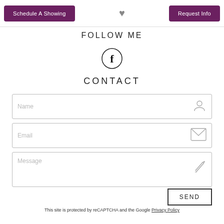[Figure (other): Top navigation bar with two purple buttons: 'Schedule A Showing' on the left, a grey heart icon in the center, and 'Request Info' button on the right]
FOLLOW ME
[Figure (other): Facebook icon — circle with letter f inside]
CONTACT
[Figure (other): Contact form with three input fields: Name (with person icon), Email (with envelope icon), Message (with pencil icon), and a SEND button]
This site is protected by reCAPTCHA and the Google Privacy Policy and Terms of Service apply.